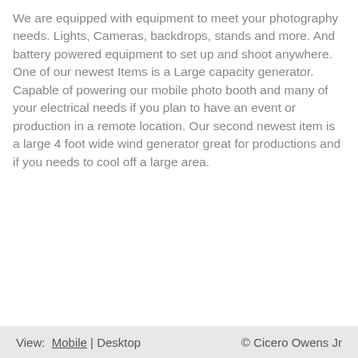We are equipped with equipment to meet your photography needs. Lights, Cameras, backdrops, stands and more. And battery powered equipment to set up and shoot anywhere. One of our newest Items is a Large capacity generator. Capable of powering our mobile photo booth and many of your electrical needs if you plan to have an event or production in a remote location. Our second newest item is a large 4 foot wide wind generator great for productions and if you needs to cool off a large area.
View: Mobile | Desktop  © Cicero Owens Jr